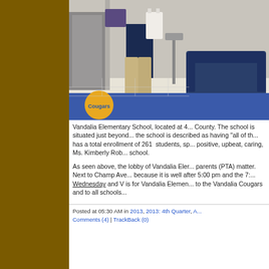[Figure (photo): Interior lobby of Vandalia Elementary School showing a person standing near a door, a blue sofa, blue carpet with a yellow circular logo, white tile floor.]
Vandalia Elementary School, located at 4... County. The school is situated just beyond... the school is described as having "all of th... has a total enrollment of 261 students, sp... positive, upbeat, caring, Ms. Kimberly Rob... school.
As seen above, the lobby of Vandalia Eler... parents (PTA) matter. Next to Champ Ave... because it is well after 5:00 pm and the 7:... Wednesday and V is for Vandalia Elemen... to the Vandalia Cougars and to all schools...
Posted at 05:30 AM in 2013, 2013: 4th Quarter, A... Comments (4) | TrackBack (0)